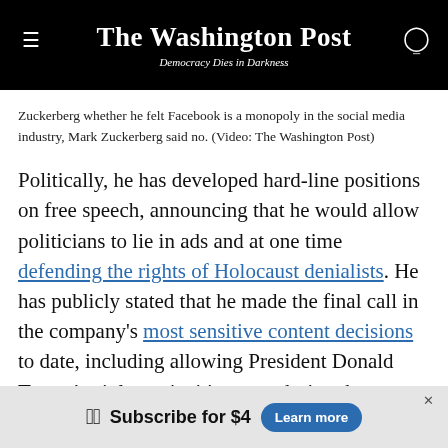The Washington Post — Democracy Dies in Darkness
Zuckerberg whether he felt Facebook is a monopoly in the social media industry, Mark Zuckerberg said no. (Video: The Washington Post)
Politically, he has developed hard-line positions on free speech, announcing that he would allow politicians to lie in ads and at one time defending the rights of Holocaust denialists. He has publicly stated that he made the final call in the company's most sensitive content decisions to date, including allowing President Donald Trump's violence-inciting post during the George Floyd protests to stay up, despite objections from thousands of employees.
wp Subscribe for $4  Learn more